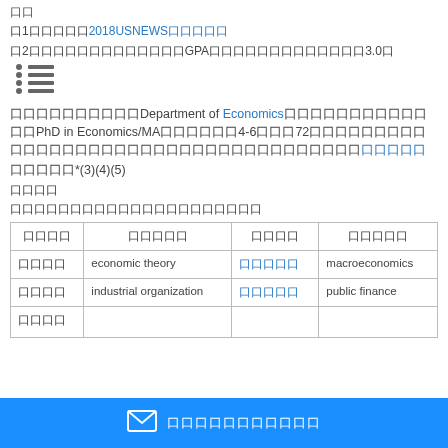口口
口1口口口口口2018USNEWS口口口口口
口2口口口口口口口口口口口口口GPA口口口口口口口口口口口口口3.0口
[Figure (illustration): List/bullet icon]
口口口口口口口口口口Department of Economics口口口口口口口口口口口口口PhD in Economics/MA口口口口口口4-6口口口72口口口口口口口口口口口口口口口口口口口口口口口口口口口口口口口口口口口口
口口口口口*(3)(4)(5)
口口口口
口口口口口口口口口口口口口口口口口口口口口
| 口口口口 | 口口口口口 | 口口口口 | 口口口口口 |
| --- | --- | --- | --- |
| 口口口口 | economic theory | 口口口口口 | macroeconomics |
| 口口口口 | industrial organization | 口口口口口 | public finance |
| 口口口口 |  |  |  |
口口口口口口口口口口口